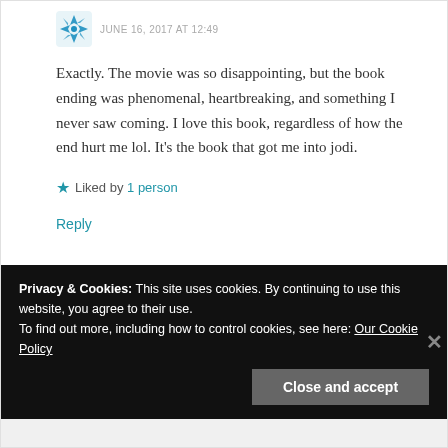JUNE 16, 2017 AT 12:49
Exactly. The movie was so disappointing, but the book ending was phenomenal, heartbreaking, and something I never saw coming. I love this book, regardless of how the end hurt me lol. It’s the book that got me into jodi.
Liked by 1person
Reply
Privacy & Cookies: This site uses cookies. By continuing to use this website, you agree to their use.
To find out more, including how to control cookies, see here: Our Cookie Policy
Close and accept